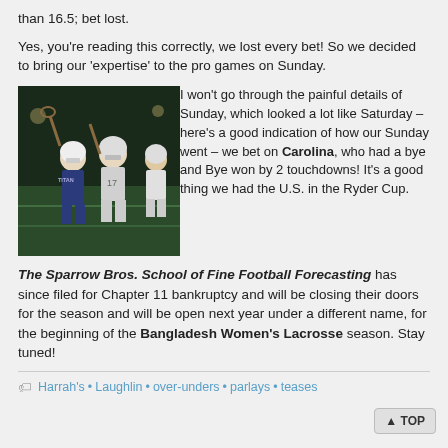than 16.5; bet lost.
Yes, you're reading this correctly, we lost every bet! So we decided to bring our 'expertise' to the pro games on Sunday.
[Figure (photo): Photo of women's lacrosse players in action at night on a field, players wearing helmets and holding lacrosse sticks]
I won't go through the painful details of Sunday, which looked a lot like Saturday – here's a good indication of how our Sunday went – we bet on Carolina, who had a bye and Bye won by 2 touchdowns! It's a good thing we had the U.S. in the Ryder Cup.
The Sparrow Bros. School of Fine Football Forecasting has since filed for Chapter 11 bankruptcy and will be closing their doors for the season and will be open next year under a different name, for the beginning of the Bangladesh Women's Lacrosse season. Stay tuned!
Harrah's • Laughlin • over-unders • parlays • teases